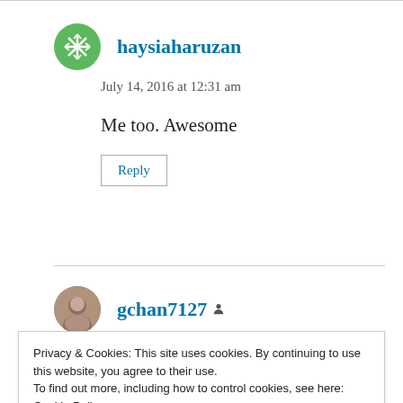haysiaharuzan
July 14, 2016 at 12:31 am
Me too. Awesome
Reply
gchan7127
Privacy & Cookies: This site uses cookies. By continuing to use this website, you agree to their use.
To find out more, including how to control cookies, see here:
Cookie Policy
Close and accept
Reply